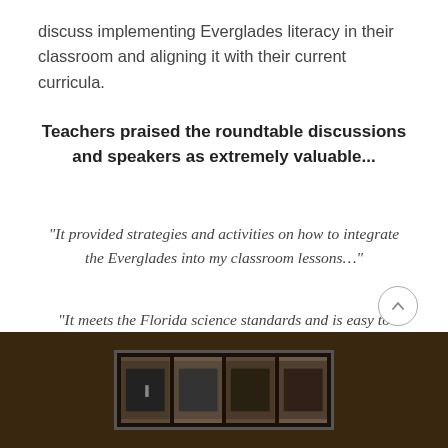discuss implementing Everglades literacy in their classroom and aligning it with their current curricula.
Teachers praised the roundtable discussions and speakers as extremely valuable...
"It provided strategies and activities on how to integrate the Everglades into my classroom lessons…"
"It meets the Florida science standards and is easy to implement in the classroom. Taking the time to determine and create all aspects of STEAM for the lesson…"
[Figure (photo): Dark wooden surface with a framed photo strip showing black and white photos of people]